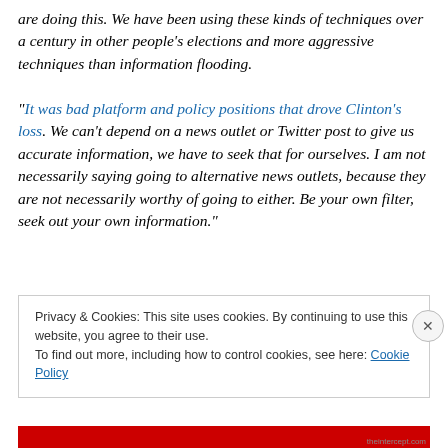are doing this. We have been using these kinds of techniques over a century in other people's elections and more aggressive techniques than information flooding. “It was bad platform and policy positions that drove Clinton’s loss. We can’t depend on a news outlet or Twitter post to give us accurate information, we have to seek that for ourselves. I am not necessarily saying going to alternative news outlets, because they are not necessarily worthy of going to either. Be your own filter, seek out your own information.”
Privacy & Cookies: This site uses cookies. By continuing to use this website, you agree to their use. To find out more, including how to control cookies, see here: Cookie Policy